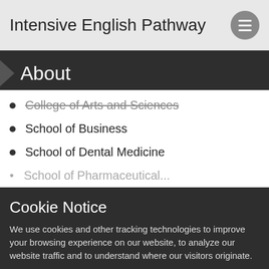Intensive English Pathway
About
College of Arts and Sciences
School of Business
School of Dental Medicine
Cookie Notice
We use cookies and other tracking technologies to improve your browsing experience on our website, to analyze our website traffic and to understand where our visitors originate.
By browsing our website, you consent to our use of cookies and other tracking technologies. For more about the information SIUE collects, visit our Web Privacy Notice.